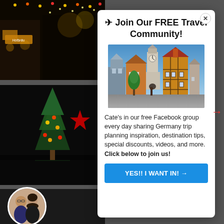[Figure (photo): Background showing festive nighttime street scene with Hofbräu sign visible]
[Figure (photo): Background showing dark Christmas market scene with tree decorations]
[Figure (photo): Circular profile photo of a couple]
✈ Join Our FREE Travel Community!
[Figure (photo): Photo of a historic German old town street with half-timbered buildings, cobblestone road, and a clock tower]
Cate's in our free Facebook group every day sharing Germany trip planning inspiration, destination tips, special discounts, videos, and more. Click below to join us!
YES!! I WANT IN! →